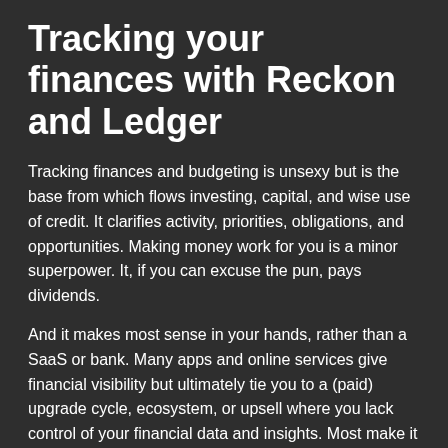Tracking your finances with Reckon and Ledger
Tracking finances and budgeting is unsexy but is the base from which flows investing, capital, and wise use of credit. It clarifies activity, priorities, obligations, and opportunities. Making money work for you is a minor superpower. It, if you can excuse the pun, pays dividends.
And it makes most sense in your hands, rather than a SaaS or bank. Many apps and online services give financial visibility but ultimately tie you to a (paid) upgrade cycle, ecosystem, or upsell where you lack control of your financial data and insights. Most make it difficult to get your data out once it's theirs.
You have alternatives. Let's talk about what I use and